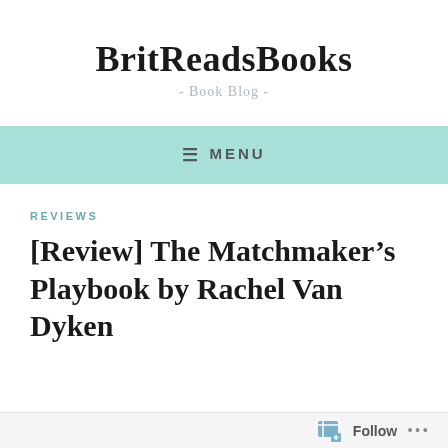BritReadsBooks
- Book Blog -
≡ MENU
REVIEWS
[Review] The Matchmaker's Playbook by Rachel Van Dyken
Follow